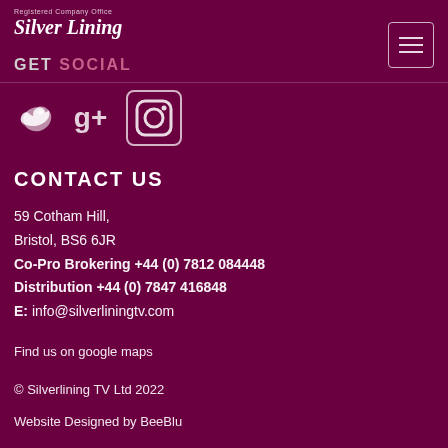Registered Company Office
Silver Lining
GET SOCIAL
[Figure (logo): Social media icons: Twitter bird, Google+, Instagram camera]
CONTACT US
59 Cotham Hill, Bristol, BS6 6JR
Co-Pro Brokering +44 (0) 7812 084448
Distribution +44 (0) 7847 416848
E: info@silverliningtv.com
Find us on google maps
© Silverlining TV Ltd 2022
Website Designed by BeeBlu